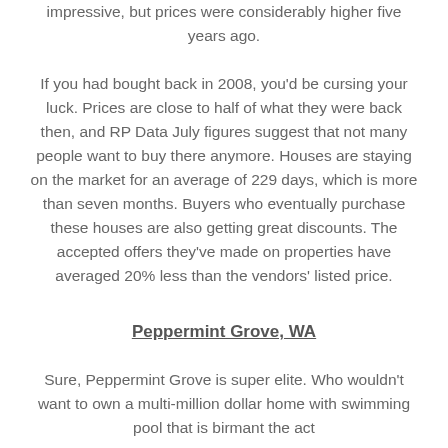impressive, but prices were considerably higher five years ago.
If you had bought back in 2008, you'd be cursing your luck. Prices are close to half of what they were back then, and RP Data July figures suggest that not many people want to buy there anymore. Houses are staying on the market for an average of 229 days, which is more than seven months. Buyers who eventually purchase these houses are also getting great discounts. The accepted offers they've made on properties have averaged 20% less than the vendors' listed price.
Peppermint Grove, WA
Sure, Peppermint Grove is super elite. Who wouldn't want to own a multi-million dollar home with swimming pool that is birmant the act